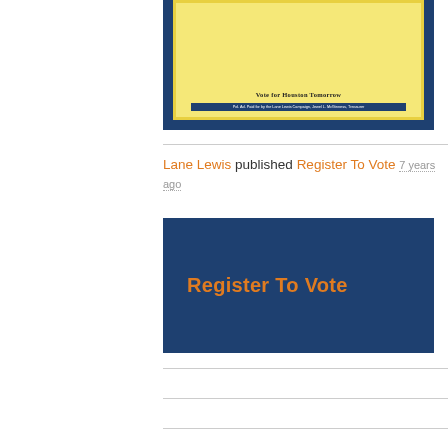[Figure (screenshot): Screenshot of a campaign flyer or poster with a yellow/gold background, dark blue border, title text, and a dark blue disclaimer bar at the bottom reading 'Pol. Ad. Paid for by the Lane Lewis Campaign, Jewel L. McGinness, Treasurer']
Lane Lewis published Register To Vote 7 years ago
[Figure (screenshot): Dark navy blue image with bold orange text reading 'Register To Vote']